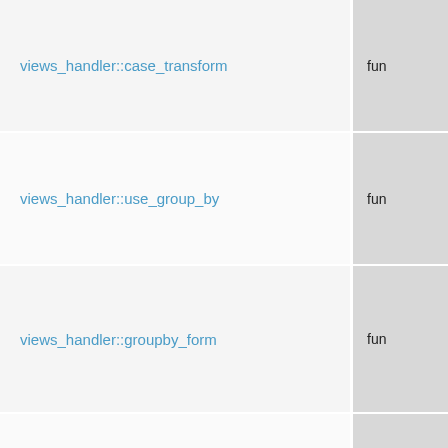| Name | Type |
| --- | --- |
| views_handler::case_transform | fun |
| views_handler::use_group_by | fun |
| views_handler::groupby_form | fun |
| views_handler::
groupby_form_submit | fun |
| views_handler::has_extra_options | fun |